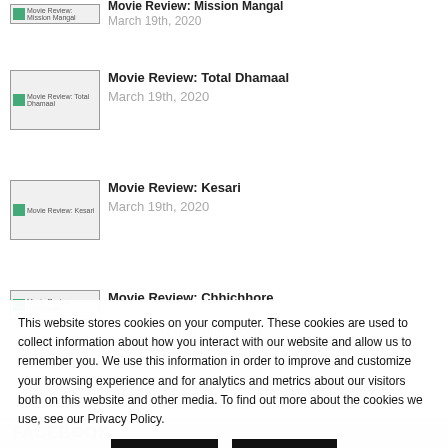Movie Review: Mission Mangal — March 19th, 2020
Movie Review: Total Dhamaal — March 19th, 2020
Movie Review: Kesari — March 19th, 2020
Movie Review: Chhichhore — March 19th, 2020
This website stores cookies on your computer. These cookies are used to collect information about how you interact with our website and allow us to remember you. We use this information in order to improve and customize your browsing experience and for analytics and metrics about our visitors both on this website and other media. To find out more about the cookies we use, see our Privacy Policy.
FACEBOOK